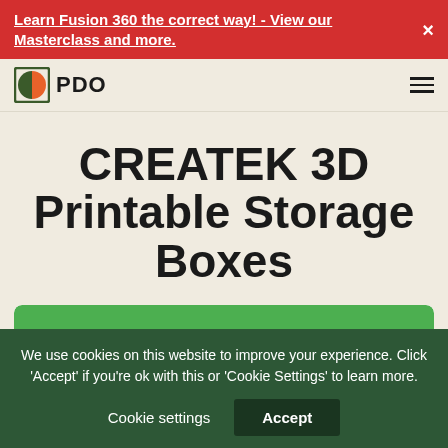Learn Fusion 360 the correct way! - View our Masterclass and more.
[Figure (logo): PDO logo with half-circle orange and dark green icon and text 'PDO']
CREATEK 3D Printable Storage Boxes
[Figure (other): Green bar at top of a white card, partially visible]
We use cookies on this website to improve your experience. Click 'Accept' if you're ok with this or 'Cookie Settings' to learn more.